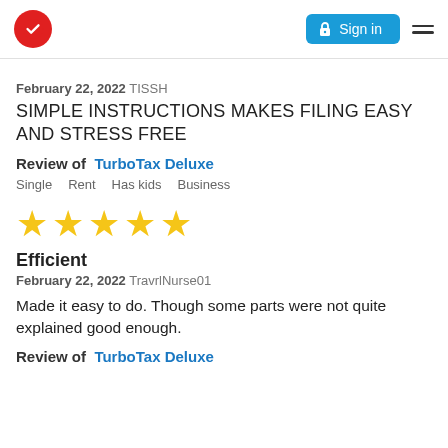Sign in
February 22, 2022 TISSH
SIMPLE INSTRUCTIONS MAKES FILING EASY AND STRESS FREE
Review of TurboTax Deluxe
Single  Rent  Has kids  Business
[Figure (other): Five gold star rating]
Efficient
February 22, 2022 TravrlNurse01
Made it easy to do. Though some parts were not quite explained good enough.
Review of TurboTax Deluxe